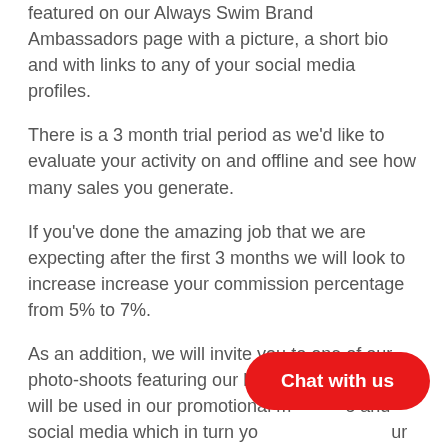featured on our Always Swim Brand Ambassadors page with a picture, a short bio and with links to any of your social media profiles.
There is a 3 month trial period as we'd like to evaluate your activity on and offline and see how many sales you generate.
If you've done the amazing job that we are expecting after the first 3 months we will look to increase increase your commission percentage from 5% to 7%.
As an addition, we will invite you to one of our photo-shoots featuring our latest collection which will be used in our promotional material and social media which in turn you can share on your personal social media channels etc.
[Figure (other): Red rounded button overlay with white text 'Chat with us']